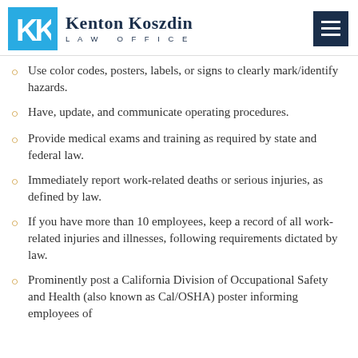Kenton Koszdin Law Office
Use color codes, posters, labels, or signs to clearly mark/identify hazards.
Have, update, and communicate operating procedures.
Provide medical exams and training as required by state and federal law.
Immediately report work-related deaths or serious injuries, as defined by law.
If you have more than 10 employees, keep a record of all work-related injuries and illnesses, following requirements dictated by law.
Prominently post a California Division of Occupational Safety and Health (also known as Cal/OSHA) poster informing employees of